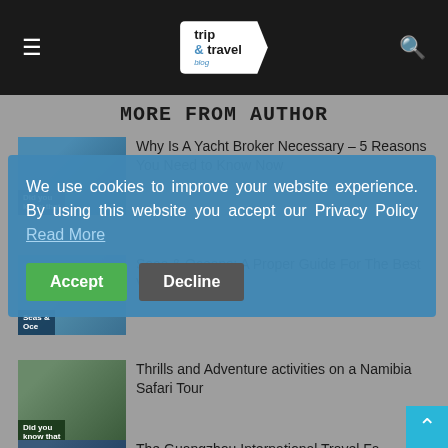Trip & Travel Blog
MORE FROM AUTHOR
Why Is A Yacht Broker Necessary – 5 Reasons You Need to Know Now
Seas & Oceans: A Proper Guide For The Best Vacation
Thrills and Adventure activities on a Namibia Safari Tour
The Guangzhou International Travel Fa
We use cookies to improve your website experience. By using this website you accept our Privacy Policy Read More
Accept
Decline